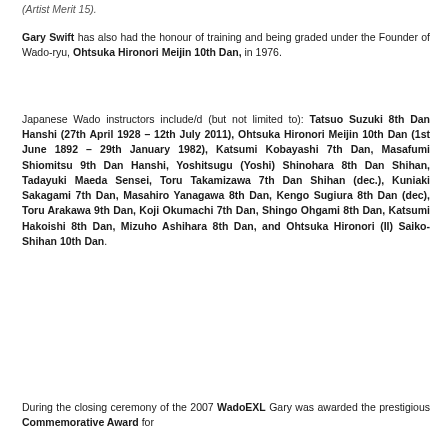(Artist Merit 15).
Gary Swift has also had the honour of training and being graded under the Founder of Wado-ryu, Ohtsuka Hironori Meijin 10th Dan, in 1976.
Japanese Wado instructors include/d (but not limited to): Tatsuo Suzuki 8th Dan Hanshi (27th April 1928 – 12th July 2011), Ohtsuka Hironori Meijin 10th Dan (1st June 1892 – 29th January 1982), Katsumi Kobayashi 7th Dan, Masafumi Shiomitsu 9th Dan Hanshi, Yoshitsugu (Yoshi) Shinohara 8th Dan Shihan, Tadayuki Maeda Sensei, Toru Takamizawa 7th Dan Shihan (dec.), Kuniaki Sakagami 7th Dan, Masahiro Yanagawa 8th Dan, Kengo Sugiura 8th Dan (dec), Toru Arakawa 9th Dan, Koji Okumachi 7th Dan, Shingo Ohgami 8th Dan, Katsumi Hakoishi 8th Dan, Mizuho Ashihara 8th Dan, and Ohtsuka Hironori (II) Saiko-Shihan 10th Dan.
During the closing ceremony of the 2007 WadoEXL Gary was awarded the prestigious Commemorative Award for